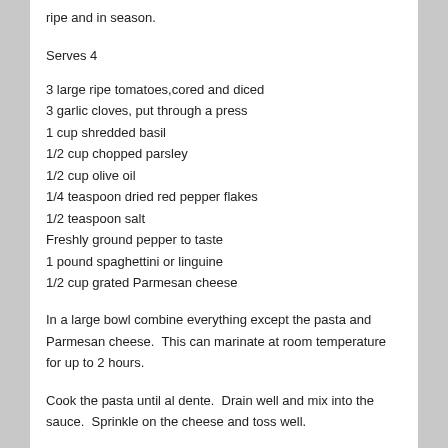ripe and in season.
Serves 4
3 large ripe tomatoes,cored and diced
3 garlic cloves, put through a press
1 cup shredded basil
1/2 cup chopped parsley
1/2 cup olive oil
1/4 teaspoon dried red pepper flakes
1/2 teaspoon salt
Freshly ground pepper to taste
1 pound spaghettini or linguine
1/2 cup grated Parmesan cheese
In a large bowl combine everything except the pasta and Parmesan cheese.  This can marinate at room temperature for up to 2 hours.
Cook the pasta until al dente.  Drain well and mix into the sauce.  Sprinkle on the cheese and toss well.